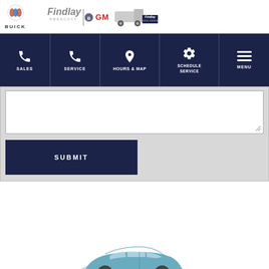[Figure (logo): Buick logo with shield emblem and BUICK text below]
[Figure (logo): Findlay Prescott Buick GMC logo with Findlay wordmark and GMC badge]
[Figure (logo): Findlay Prescott Truck Center logo with truck image]
[Figure (screenshot): Navigation bar with dark navy background showing SALES, SERVICE, HOURS & MAP, SCHEDULE SERVICE, MENU items with icons]
[Figure (screenshot): Form textarea input field with resize handle]
[Figure (screenshot): SUBMIT button in dark navy blue]
[Figure (photo): Partial view of a blue/teal car (SUV/crossover) visible at bottom of page]